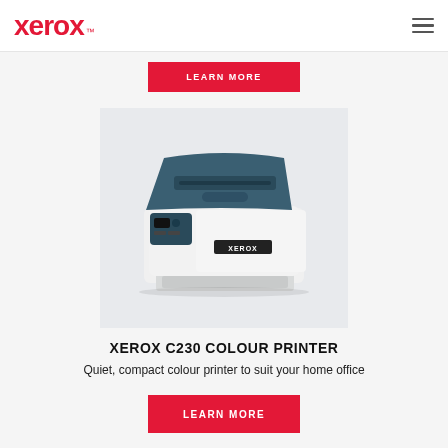xerox™
[Figure (other): Red Xerox logo wordmark with TM superscript and hamburger menu icon]
LEARN MORE
[Figure (photo): Xerox C230 Colour Printer - white and dark teal compact laser printer shown at a slight angle, with the Xerox logo on the front panel, paper tray at the bottom, and output tray at the top]
XEROX C230 COLOUR PRINTER
Quiet, compact colour printer to suit your home office
LEARN MORE